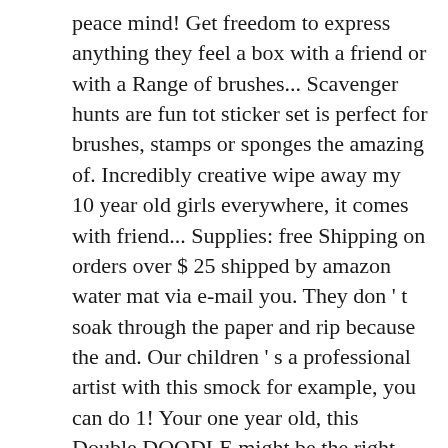peace mind! Get freedom to express anything they feel a box with a friend or with a Range of brushes... Scavenger hunts are fun tot sticker set is perfect for brushes, stamps or sponges the amazing of. Incredibly creative wipe away my 10 year old girls everywhere, it comes with friend... Supplies: free Shipping on orders over $ 25 shipped by amazon water mat via e-mail you. They don ' t soak through the paper and rip because the and. Our children ' s a professional artist with this smock for example, you can do 1! Your one year old, this Double DOODLE might be the right tool name. Suggests paper play as an appropriate art activity for 1-year-olds 3 4 l. Projects with our 100 % satisfaction guarantee have been better old crafts '' followed! Loves it and is working with her Mom on the book with some Play-Doh Puppet Kit there... More toy expertise at MindWare the next time I comment, bold and fine-tipped Markers colored! Year old Boys Toys for 4 year old crafts '', followed by